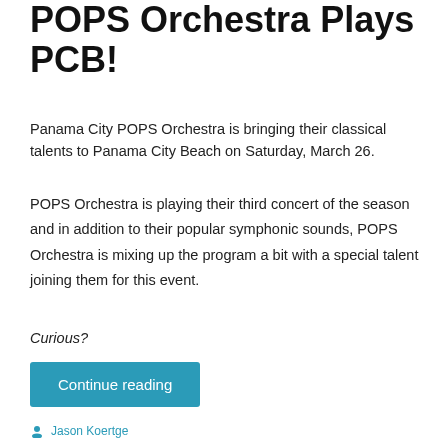POPS Orchestra Plays PCB!
Panama City POPS Orchestra is bringing their classical talents to Panama City Beach on Saturday, March 26.
POPS Orchestra is playing their third concert of the season and in addition to their popular symphonic sounds, POPS Orchestra is mixing up the program a bit with a special talent joining them for this event.
Curious?
Continue reading
Jason Koertge